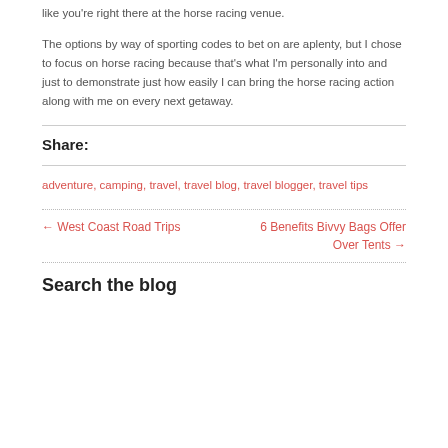like you're right there at the horse racing venue.
The options by way of sporting codes to bet on are aplenty, but I chose to focus on horse racing because that's what I'm personally into and just to demonstrate just how easily I can bring the horse racing action along with me on every next getaway.
Share:
adventure, camping, travel, travel blog, travel blogger, travel tips
← West Coast Road Trips
6 Benefits Bivvy Bags Offer Over Tents →
Search the blog